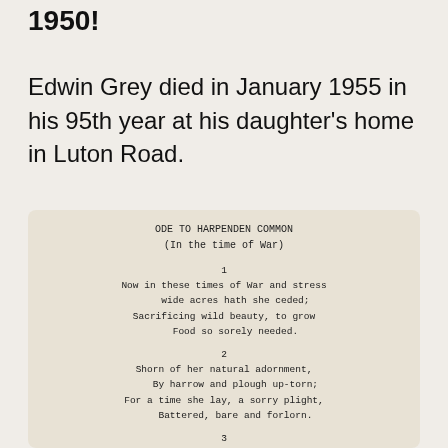1950!
Edwin Grey died in January 1955 in his 95th year at his daughter's home in Luton Road.
[Figure (other): Scanned typewritten poem on aged paper with rounded corners. Title: ODE TO HARPENDEN COMMON (In the time of War). Contains three visible stanzas numbered 1, 2, 3.]
ODE TO HARPENDEN COMMON
(In the time of War)

1
Now in these times of War and stress
wide acres hath she ceded;
Sacrificing wild beauty, to grow
Food so sorely needed.

2
Shorn of her natural adornment,
By harrow and plough up-torn;
For a time she lay, a sorry plight,
Battered, bare and forlorn.

3
But anon she recovers, and starting afresh,
In a strange new role proceeded,
She, year by year, a welcomed share